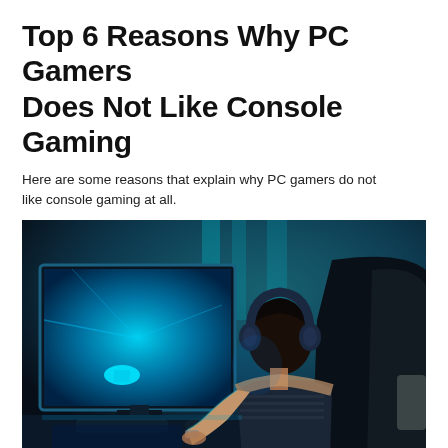Top 6 Reasons Why PC Gamers Does Not Like Console Gaming
Here are some reasons that explain why PC gamers do not like console gaming at all.
[Figure (photo): Person viewed from behind sitting in a gaming chair, wearing headphones, facing a large blue-lit gaming monitor displaying a game. The room has teal/cyan ambient lighting.]
Source: musicgateway.com